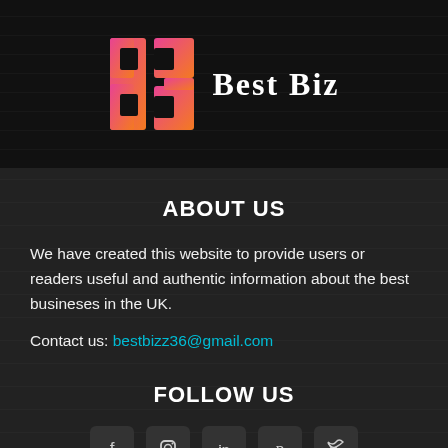[Figure (logo): B3 Best Biz logo - stylized B3 letters in orange/pink gradient with 'Best Biz' text in white serif font on dark background]
ABOUT US
We have created this website to provide users or readers useful and authentic information about the best busineses in the UK.
Contact us: bestbizz36@gmail.com
FOLLOW US
[Figure (infographic): Row of 5 social media icon boxes: Facebook, Instagram, LinkedIn, Pinterest, Twitter]